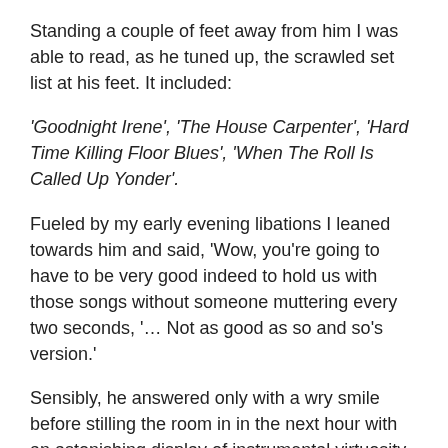Standing a couple of feet away from him I was able to read, as he tuned up, the scrawled set list at his feet. It included:
'Goodnight Irene', 'The House Carpenter', 'Hard Time Killing Floor Blues', 'When The Roll Is Called Up Yonder'.
Fueled by my early evening libations I leaned towards him and said, 'Wow, you're going to have to be very good indeed to hold us with those songs without someone muttering every two seconds, '… Not as good as so and so's version.'
Sensibly, he answered only with a wry smile before stilling the room in in the next hour with an astonishing display of instrumental virtuosity harnessed to a deep emotional understanding of both the Blues and the Gospel traditions.